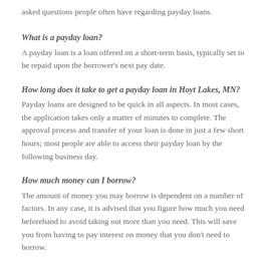asked questions people often have regarding payday loans.
What is a payday loan?
A payday loan is a loan offered on a short-term basis, typically set to be repaid upon the borrower's next pay date.
How long does it take to get a payday loan in Hoyt Lakes, MN?
Payday loans are designed to be quick in all aspects. In most cases, the application takes only a matter of minutes to complete. The approval process and transfer of your loan is done in just a few short hours; most people are able to access their payday loan by the following business day.
How much money can I borrow?
The amount of money you may borrow is dependent on a number of factors. In any case, it is advised that you figure how much you need beforehand to avoid taking out more than you need. This will save you from having to pay interest on money that you don't need to borrow.